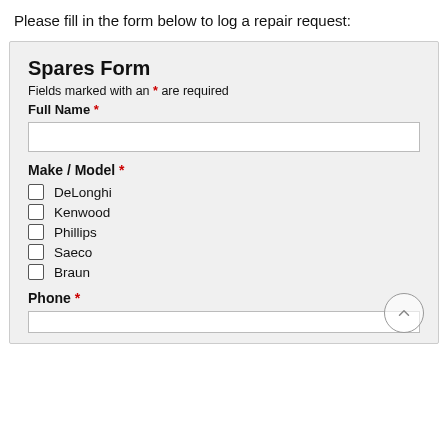Please fill in the form below to log a repair request:
Spares Form
Fields marked with an * are required
Full Name *
Make / Model *
DeLonghi
Kenwood
Phillips
Saeco
Braun
Phone *